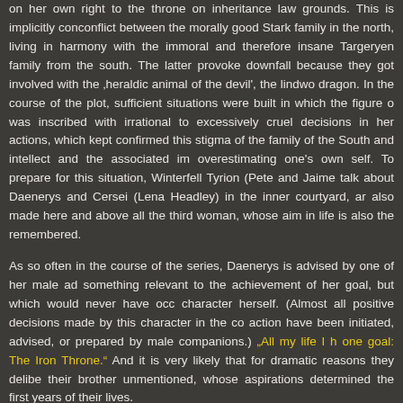on her own right to the throne on inheritance law grounds. This is implicitly con conflict between the morally good Stark family in the north, living in harmony with the immoral and therefore insane Targeryen family from the south. The latter provoke downfall because they got involved with the 'heraldic animal of the devil', the lindw dragon. In the course of the plot, sufficient situations were built in which the figure o was inscribed with irrational to excessively cruel decisions in her actions, which kep confirmed this stigma of the family of the South and intellect and the associated im overestimating one's own self. To prepare for this situation, Winterfell Tyrion (Pete and Jaime talk about Daenerys and Cersei (Lena Headley) in the inner courtyard, a also made here and above all the third woman, whose aim in life is also th remembered.
As so often in the course of the series, Daenerys is advised by one of her male ad something relevant to the achievement of her goal, but which would never have occ character herself. (Almost all positive decisions made by this character in the co action have been initiated, advised, or prepared by male companions.) "All my life I h one goal: The Iron Throne." And it is very likely that for dramatic reasons they delibe their brother unmentioned, whose aspirations determined the first years of their lives.
The moment the conversation revolves around their love for Jon, they get closer to to the point that Daenerys lays her hand on Sansa's, which, however, also ex embodiment of hierarchy. But the figure of Sansa does not allow herself to be capt gesture and brings the conversation back to the central conflict, the balance